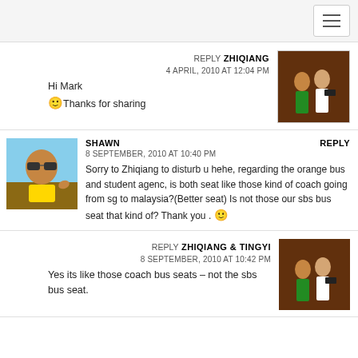REPLY ZHIQIANG
4 APRIL, 2010 AT 12:04 PM
Hi Mark
🙂 Thanks for sharing
SHAWN
8 SEPTEMBER, 2010 AT 10:40 PM
Sorry to Zhiqiang to disturb u hehe, regarding the orange bus and student agenc, is both seat like those kind of coach going from sg to malaysia?(Better seat) Is not those our sbs bus seat that kind of? Thank you . 🙂
REPLY ZHIQIANG & TINGYI
8 SEPTEMBER, 2010 AT 10:42 PM
Yes its like those coach bus seats – not the sbs bus seat.